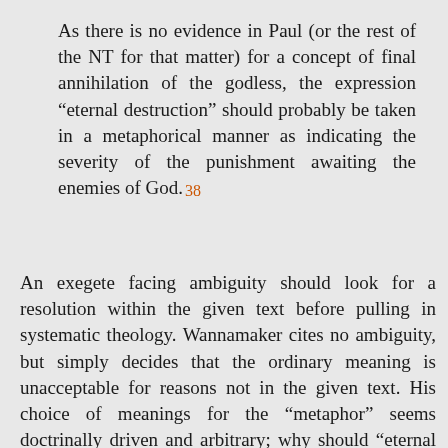As there is no evidence in Paul (or the rest of the NT for that matter) for a concept of final annihilation of the godless, the expression “eternal destruction” should probably be taken in a metaphorical manner as indicating the severity of the punishment awaiting the enemies of God. 38
An exegete facing ambiguity should look for a resolution within the given text before pulling in systematic theology. Wannamaker cites no ambiguity, but simply decides that the ordinary meaning is unacceptable for reasons not in the given text. His choice of meanings for the “metaphor” seems doctrinally driven and arbitrary; why should “eternal destruction” mean “severe punishment,” rather than allowing all of the rest of